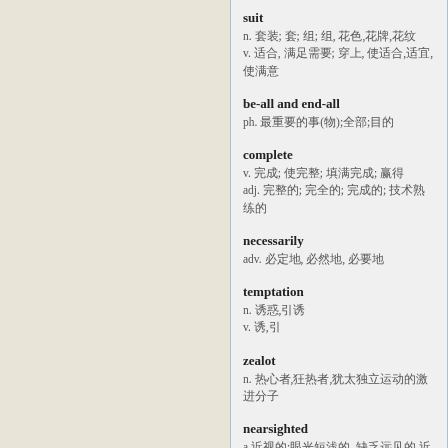suit
n. 套装; 套; 组; 组, 花色,花牌,花纹
v. 适合, 满足需要; 穿上, 使适合,适宜,使满意
be-all and end-all
ph. 最重要的事(物);全部;目的
complete
v. 完成; 使完整; 填满完成; 赢得
adj. 完整的; 完全的; 完成的; 技术熟练的
necessarily
adv. 必定地, 必然地, 必要地
temptation
n. 诱惑,引诱
v. 诱,引
zealot
n. 热心者,狂热者,犹太独立运动的激进分子
nearsighted
a.近视的;眼光短浅的, 缺乏远见的,近视